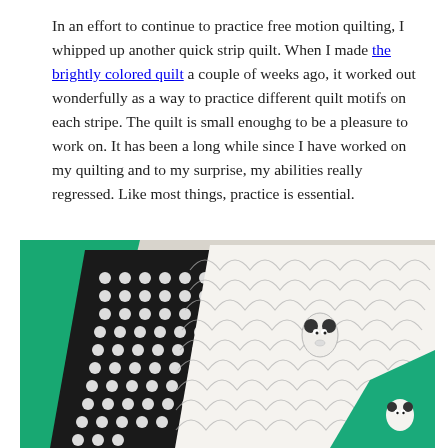In an effort to continue to practice free motion quilting, I whipped up another quick strip quilt. When I made the brightly colored quilt a couple of weeks ago, it worked out wonderfully as a way to practice different quilt motifs on each stripe. The quilt is small enoughg to be a pleasure to work on. It has been a long while since I have worked on my quilting and to my surprise, my abilities really regressed. Like most things, practice is essential.
[Figure (photo): A photo of quilt fabrics arranged on a surface: a teal/green solid fabric, a black-and-white circular/dot pattern fabric, a white fabric with scallop/wave pattern and panda motifs, and another teal fabric with panda design visible.]